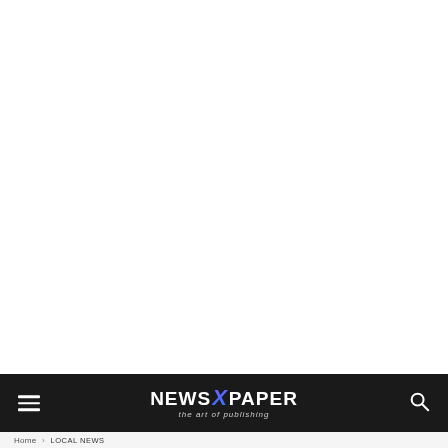NEWSPAPER – the art of publishing
Home › LOCAL NEWS